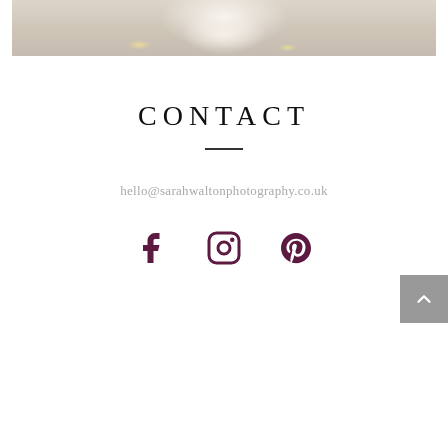[Figure (photo): Top portion of a food photography image showing a white bowl or container with yellow powder/mustard seeds and a wooden spoon on a light surface]
CONTACT
hello@sarahwaltonphotography.co.uk
[Figure (other): Three social media icons: Facebook (f), Instagram (circle camera), and Pinterest (P) in dark purple/maroon color]
[Figure (other): Grey scroll-to-top button with upward chevron arrow in bottom right corner]